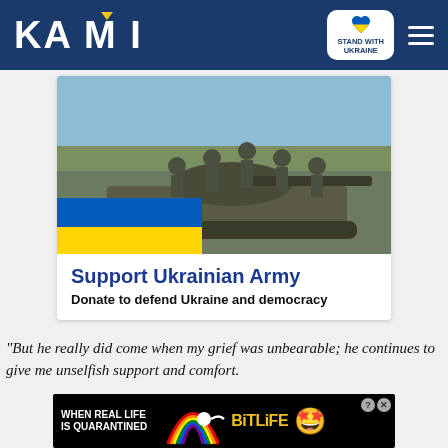KAMI
[Figure (screenshot): Promotional banner: Support Ukrainian Army. Shows soldiers standing on a military tank with Ukrainian landscape background. Blue and yellow Ukrainian flag overlay in bottom-left. Title: Support Ukrainian Army. Subtitle: Donate to defend Ukraine and democracy.]
"But he really did come when my grief was unbearable; he continues to give me unselfish support and comfort.
[Figure (advertisement): BitLife app advertisement. Black background with rainbow arc, text WHEN REAL LIFE IS QUARANTINED, BitLife logo in yellow, emoji character with star eyes and mask.]